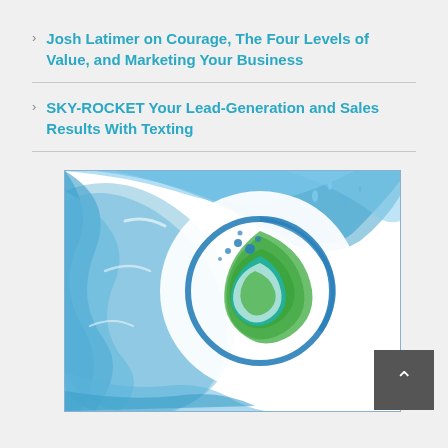Josh Latimer on Courage, The Four Levels of Value, and Marketing Your Business
SKY-ROCKET Your Lead-Generation and Sales Results With Texting
[Figure (logo): A circular water wave logo with blue water splashing and a green swirl/leaf design in the center, with small blue dots. The logo is set against a white background with blue wave water splashing around it.]